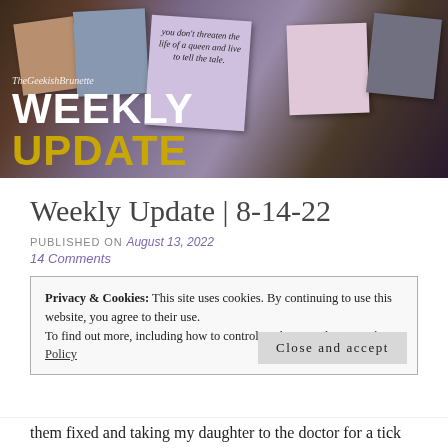[Figure (photo): Banner image showing polaroid-style fan art cards with text 'WEEKLY UPDATE' overlaid in white and gold. Site name 'TheGeekishBrunette' in cursive at top left.]
Weekly Update | 8-14-22
PUBLISHED ON August 13, 2022
14 Comments
Privacy & Cookies: This site uses cookies. By continuing to use this website, you agree to their use.
To find out more, including how to control cookies, see here: Cookie Policy
Close and accept
them fixed and taking my daughter to the doctor for a tick